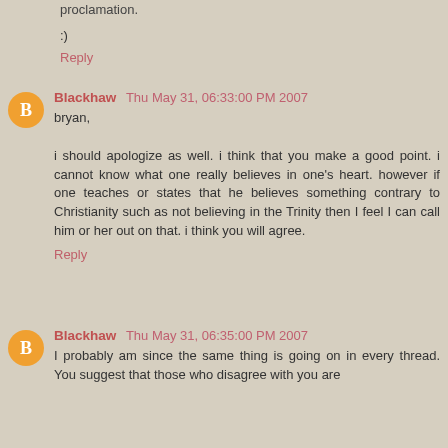proclamation.
:)
Reply
Blackhaw  Thu May 31, 06:33:00 PM 2007
bryan,

i should apologize as well. i think that you make a good point. i cannot know what one really believes in one's heart. however if one teaches or states that he believes something contrary to Christianity such as not believing in the Trinity then I feel I can call him or her out on that. i think you will agree.
Reply
Blackhaw  Thu May 31, 06:35:00 PM 2007
I probably am since the same thing is going on in every thread. You suggest that those who disagree with you are